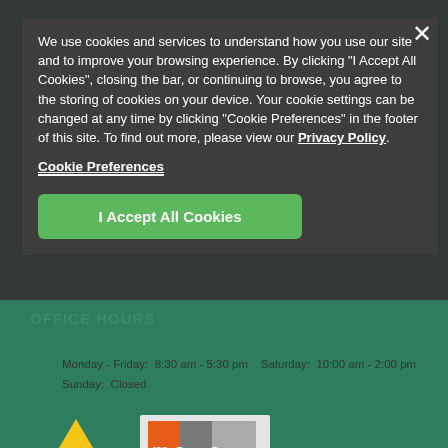We use cookies and services to understand how you use our site and to improve your browsing experience. By clicking "I Accept All Cookies", closing the bar, or continuing to browse, you agree to the storing of cookies on your device. Your cookie settings can be changed at any time by clicking "Cookie Preferences" in the footer of this site. To find out more, please view our Privacy Policy.
Cookie Preferences
I Accept All Cookies
CONTACT
p: (336) 223-3316   f: (336) 672-6072
OFFICE HOURS
Monday - Friday:  8:30 am - 5:30 pm    Saturday:  10:00 am - 2:00 pm
Sunday:  Closed
[Figure (logo): Capstone logo with triangle and text CAPSTONE]
[Figure (logo): mac.c Venture Partners LLC logo with orange and grey squares]
Privacy Policy   Cookie Preferences   Entrata's Accessibility Statement   Entrata Terms of Use
[Figure (other): Phone icon in blue circle]
[Figure (other): Paw print icon and equal housing icon]